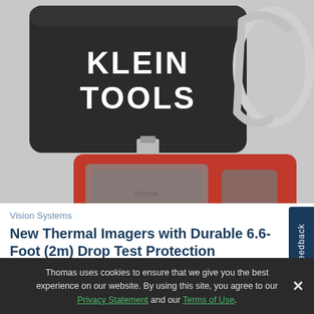[Figure (photo): Klein Tools thermal imager product photo showing a black Klein Tools branded carrying case/pouch with a metal carabiner clip, and an orange rectangular thermal imaging device with a connector port on top, screen and button on front.]
Vision Systems
New Thermal Imagers with Durable 6.6-Foot (2m) Drop Test Protection
[Figure (photo): Partial view of a dark gray circular/cylindrical object, partially cropped at bottom of page.]
Thomas uses cookies to ensure that we give you the best experience on our website. By using this site, you agree to our Privacy Statement and our Terms of Use.